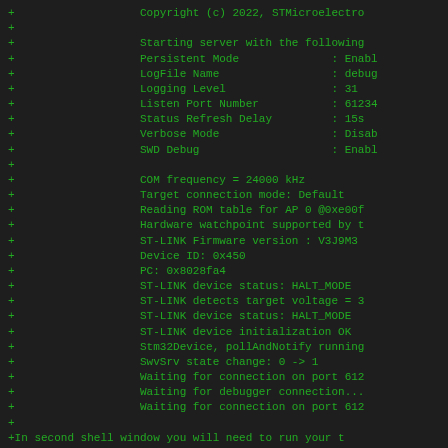+                   Copyright (c) 2022, STMicroelectro
+
+                   Starting server with the following
+                   Persistent Mode              : Enabl
+                   LogFile Name                 : debug
+                   Logging Level                : 31
+                   Listen Port Number           : 61234
+                   Status Refresh Delay         : 15s
+                   Verbose Mode                 : Disab
+                   SWD Debug                    : Enabl
+
+                   COM frequency = 24000 kHz
+                   Target connection mode: Default
+                   Reading ROM table for AP 0 @0xe00f
+                   Hardware watchpoint supported by t
+                   ST-LINK Firmware version : V3J9M3
+                   Device ID: 0x450
+                   PC: 0x8028fa4
+                   ST-LINK device status: HALT_MODE
+                   ST-LINK detects target voltage = 3
+                   ST-LINK device status: HALT_MODE
+                   ST-LINK device initialization OK
+                   Stm32Device, pollAndNotify running
+                   SwvSrv state change: 0 -> 1
+                   Waiting for connection on port 612
+                   Waiting for debugger connection...
+                   Waiting for connection on port 612
+
+In second shell window you will need to run your t
+connect to the board virtual serial port. Followin